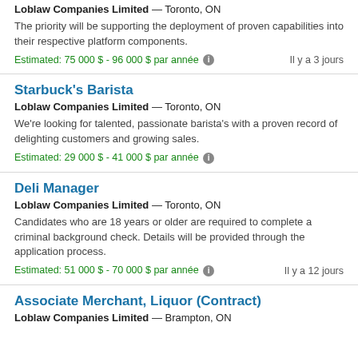Loblaw Companies Limited — Toronto, ON
The priority will be supporting the deployment of proven capabilities into their respective platform components.
Estimated: 75 000 $ - 96 000 $ par année   Il y a 3 jours
Starbuck's Barista
Loblaw Companies Limited — Toronto, ON
We're looking for talented, passionate barista's with a proven record of delighting customers and growing sales.
Estimated: 29 000 $ - 41 000 $ par année
Deli Manager
Loblaw Companies Limited — Toronto, ON
Candidates who are 18 years or older are required to complete a criminal background check. Details will be provided through the application process.
Estimated: 51 000 $ - 70 000 $ par année   Il y a 12 jours
Associate Merchant, Liquor (Contract)
Loblaw Companies Limited — Brampton, ON